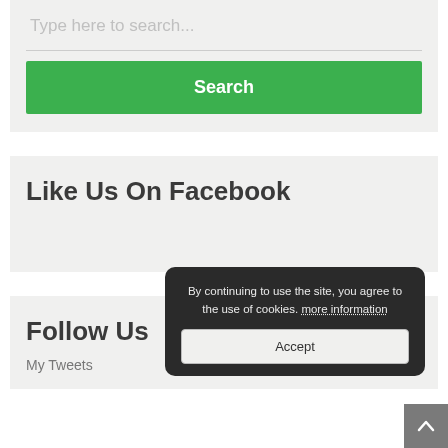Type here to search...
[Figure (screenshot): Search button — green background with white bold text 'Search']
Like Us On Facebook
Follow Us
My Tweets
By continuing to use the site, you agree to the use of cookies. more information
Accept